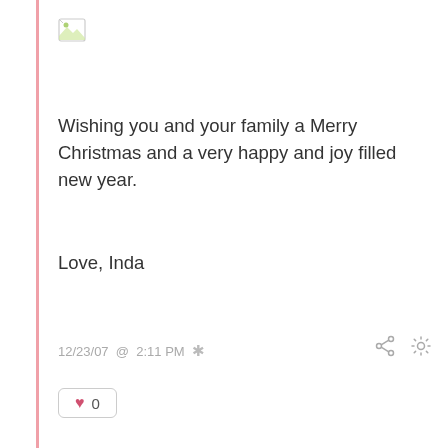[Figure (other): Broken image icon placeholder]
Wishing you and your family a Merry Christmas and a very happy and joy filled new year.
Love, Inda
12/23/07  @  2:11 PM  *
0
Margherita
Dearest Inda,
may you enjoy your trip into warmer realms and find the right atmosphere to relax and rebuild your